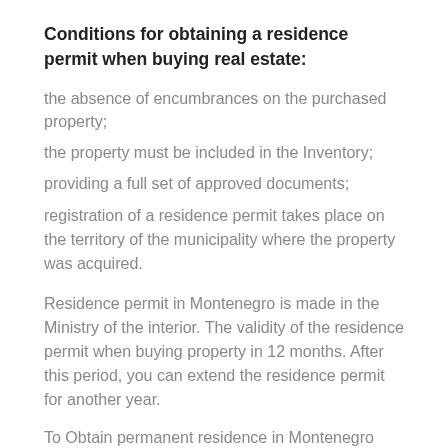Conditions for obtaining a residence permit when buying real estate:
the absence of encumbrances on the purchased property;
the property must be included in the Inventory;
providing a full set of approved documents;
registration of a residence permit takes place on the territory of the municipality where the property was acquired.
Residence permit in Montenegro is made in the Ministry of the interior. The validity of the residence permit when buying property in 12 months. After this period, you can extend the residence permit for another year.
To Obtain permanent residence in Montenegro only after 5 years after permanent residence on the territory of the country. The maximum period of absence from the